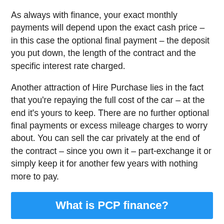As always with finance, your exact monthly payments will depend upon the exact cash price – in this case the optional final payment – the deposit you put down, the length of the contract and the specific interest rate charged.
Another attraction of Hire Purchase lies in the fact that you're repaying the full cost of the car – at the end it's yours to keep. There are no further optional final payments or excess mileage charges to worry about. You can sell the car privately at the end of the contract – since you own it – part-exchange it or simply keep it for another few years with nothing more to pay.
What is PCP finance?